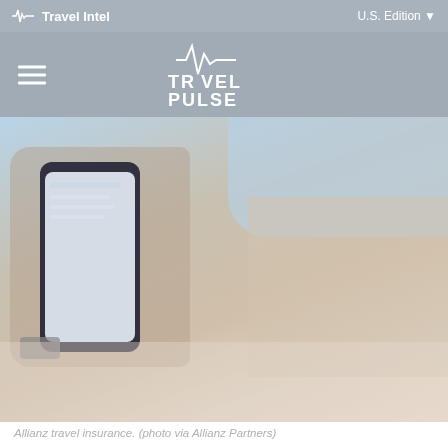Travel Intel   U.S. Edition
[Figure (logo): Travel Pulse logo with pulse/heartbeat icon above text]
[Figure (photo): Person lying on beach/lounger holding a smartphone, showing a travel insurance app or website. Wrist watch visible. Photo via Allianz Partners.]
Allianz travel insurance. (photo via Allianz Partners)
Travelers are showing significant interest in protecting their trips this summer, according to a new survey of Allianz Partners USA customers, which found that 90 percent say they are likely to purchase travel insurance for their next trip.
The random sample of more than 2,600 customers who